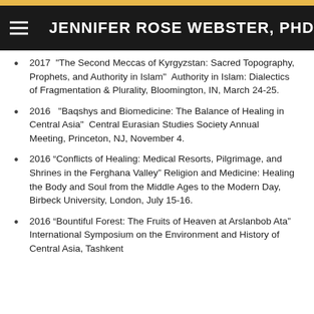JENNIFER ROSE WEBSTER, PHD
2017  "The Second Meccas of Kyrgyzstan: Sacred Topography, Prophets, and Authority in Islam"  Authority in Islam: Dialectics of Fragmentation & Plurality, Bloomington, IN, March 24-25.
2016   "Baqshys and Biomedicine: The Balance of Healing in Central Asia"  Central Eurasian Studies Society Annual Meeting, Princeton, NJ, November 4.
2016 “Conflicts of Healing: Medical Resorts, Pilgrimage, and Shrines in the Ferghana Valley”  Religion and Medicine: Healing the Body and Soul from the Middle Ages to the Modern Day, Birbeck University, London, July 15-16.
2016 “Bountiful Forest: The Fruits of Heaven at Arslanbob Ata”  International Symposium on the Environment and History of Central Asia, Tashkent...